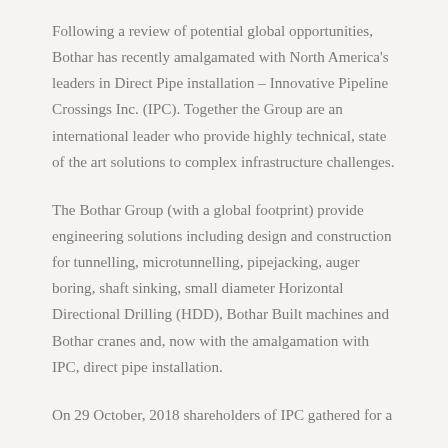Following a review of potential global opportunities, Bothar has recently amalgamated with North America's leaders in Direct Pipe installation – Innovative Pipeline Crossings Inc. (IPC). Together the Group are an international leader who provide highly technical, state of the art solutions to complex infrastructure challenges.
The Bothar Group (with a global footprint) provide engineering solutions including design and construction for tunnelling, microtunnelling, pipejacking, auger boring, shaft sinking, small diameter Horizontal Directional Drilling (HDD), Bothar Built machines and Bothar cranes and, now with the amalgamation with IPC, direct pipe installation.
On 29 October, 2018 shareholders of IPC gathered for a